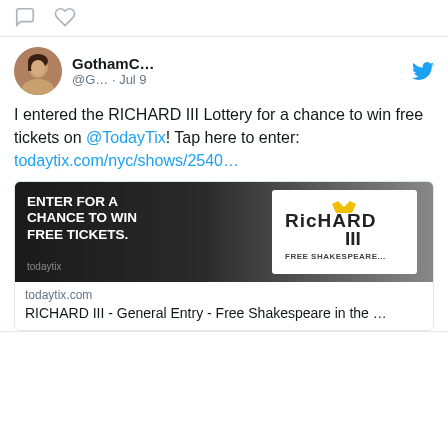[Figure (screenshot): Twitter/social media interface showing comment and like icons at the top]
GothamC... @G... · Jul 9
I entered the RICHARD III Lottery for a chance to win free tickets on @TodayTix! Tap here to enter: todaytix.com/nyc/shows/2540…
[Figure (screenshot): Advertisement image with dark background reading ENTER FOR A CHANCE TO WIN FREE TICKETS. with Richard III logo on right side, todaytix branding at bottom left]
todaytix.com
RICHARD III - General Entry - Free Shakespeare in the …